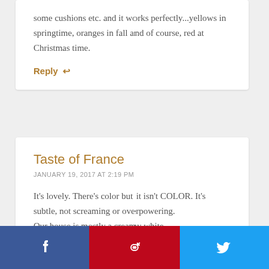some cushions etc. and it works perfectly...yellows in springtime, oranges in fall and of course, red at Christmas time.
Reply ↩
Taste of France
JANUARY 19, 2017 AT 2:19 PM
It's lovely. There's color but it isn't COLOR. It's subtle, not screaming or overpowering.
Our house is mostly a creamy white,
[Figure (infographic): Social share buttons: Facebook (blue), Pinterest (red), Twitter (light blue)]